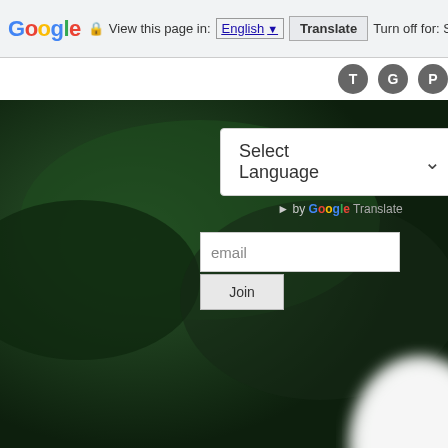Google | View this page in: English ▼ | Translate | Turn off for: S
[Figure (screenshot): Navigation strip with social media icons (T, G, P) on dark circular backgrounds]
[Figure (screenshot): Google Translate widget with 'Select Language' dropdown and 'Powered by Google Translate' text, overlaid on dark green blurred background photo. Below it an email input field with placeholder 'email' and a 'Join' button. Bottom right shows a blurred white shape.]